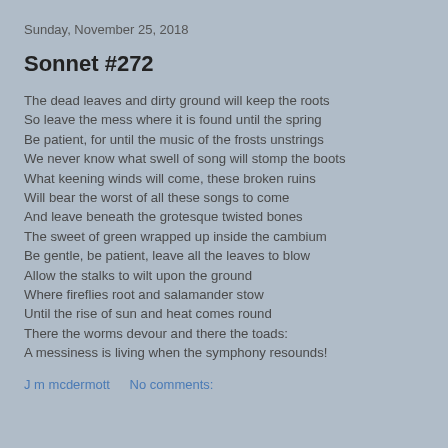Sunday, November 25, 2018
Sonnet #272
The dead leaves and dirty ground will keep the roots
So leave the mess where it is found until the spring
Be patient, for until the music of the frosts unstrings
We never know what swell of song will stomp the boots
What keening winds will come, these broken ruins
Will bear the worst of all these songs to come
And leave beneath the grotesque twisted bones
The sweet of green wrapped up inside the cambium
Be gentle, be patient, leave all the leaves to blow
Allow the stalks to wilt upon the ground
Where fireflies root and salamander stow
Until the rise of sun and heat comes round
There the worms devour and there the toads:
A messiness is living when the symphony resounds!
J m mcdermott    No comments: